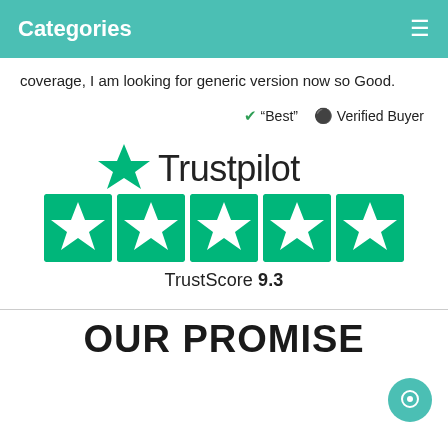Categories
coverage, I am looking for generic version now so Good.
✔ "Best"   👤 Verified Buyer
[Figure (logo): Trustpilot logo with green star and five green star rating boxes showing TrustScore 9.3]
OUR PROMISE